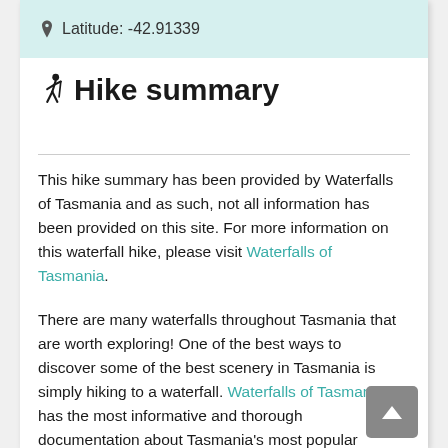Latitude: -42.91339
Hike summary
This hike summary has been provided by Waterfalls of Tasmania and as such, not all information has been provided on this site. For more information on this waterfall hike, please visit Waterfalls of Tasmania.
There are many waterfalls throughout Tasmania that are worth exploring! One of the best ways to discover some of the best scenery in Tasmania is simply hiking to a waterfall. Waterfalls of Tasmania has the most informative and thorough documentation about Tasmania's most popular waterfalls.